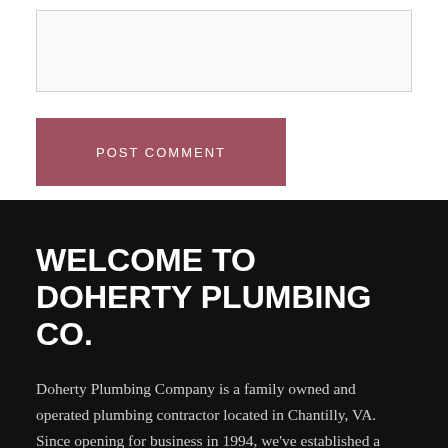[Figure (other): Empty textarea input box with light gray border]
POST COMMENT
WELCOME TO DOHERTY PLUMBING CO.
Doherty Plumbing Company is a family owned and operated plumbing contractor located in Chantilly, VA. Since opening for business in 1994, we've established a reputation of excellent service and reliability throughout Northern Virginia.